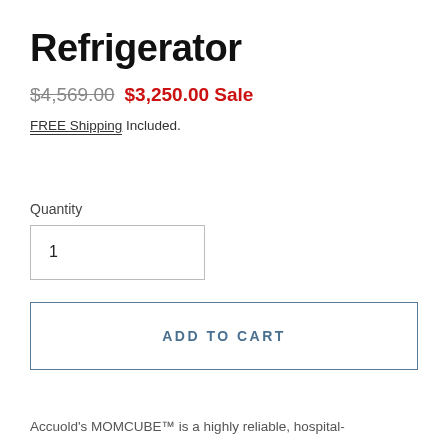Refrigerator
$4,569.00 $3,250.00 Sale
FREE Shipping Included.
Quantity
1
ADD TO CART
Accuold's MOMCUBE™ is a highly reliable, hospital-